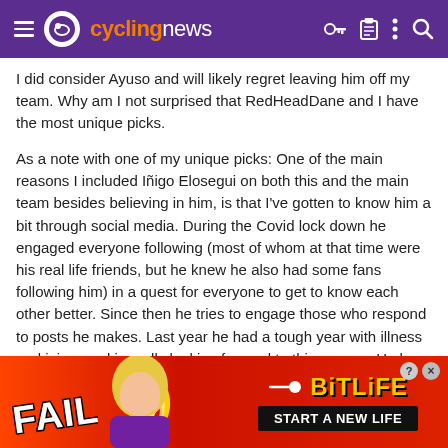cyclingnews
I did consider Ayuso and will likely regret leaving him off my team. Why am I not surprised that RedHeadDane and I have the most unique picks.
As a note with one of my unique picks: One of the main reasons I included Iñigo Elosegui on both this and the main team besides believing in him, is that I've gotten to know him a bit through social media. During the Covid lock down he engaged everyone following (most of whom at that time were his real life friends, but he knew he also had some fans following him) in a quest for everyone to get to know each other better. Since then he tries to engage those who respond to posts he makes. Last year he had a tough year with illness and injury and is really looking forward to this season. He has a passion for the sport. So in that sense he's a heart pick for this game.
[Figure (infographic): BitLife game advertisement banner with 'FAIL' text on left, animated character in center, and 'START A NEW LIFE' text on right with yellow BitLife logo]